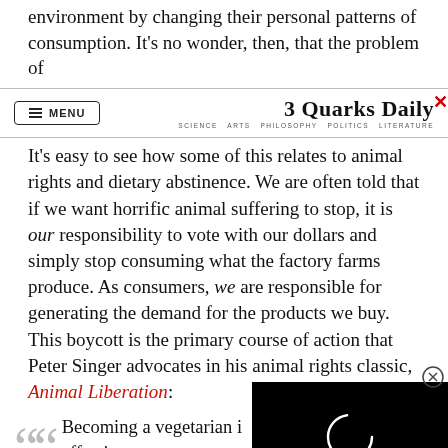environment by changing their personal patterns of consumption. It's no wonder, then, that the problem of
3 Quarks Daily — SCIENCE ARTS PHILOSOPHY POLITICS LITERATURE
It's easy to see how some of this relates to animal rights and dietary abstinence. We are often told that if we want horrific animal suffering to stop, it is our responsibility to vote with our dollars and simply stop consuming what the factory farms produce. As consumers, we are responsible for generating the demand for the products we buy. This boycott is the primary course of action that Peter Singer advocates in his animal rights classic, Animal Liberation:
Becoming a vegetarian i… effective step one can ta… killing of nonhuman ani…